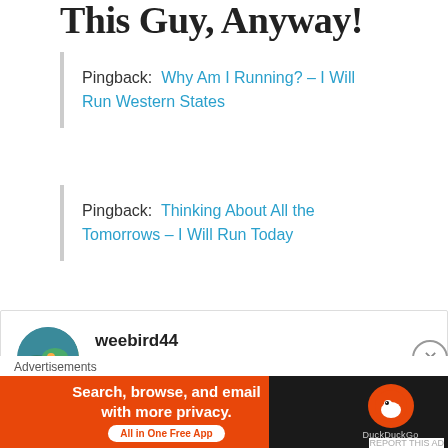This Guy, Anyway!
Pingback: Why Am I Running? – I Will Run Western States
Pingback: Thinking About All the Tomorrows – I Will Run Today
weebird44
October 6, 2017 at 6:51 am
[Figure (other): DuckDuckGo advertisement banner: Search, browse, and email with more privacy. All in One Free App. DuckDuckGo logo on dark background.]